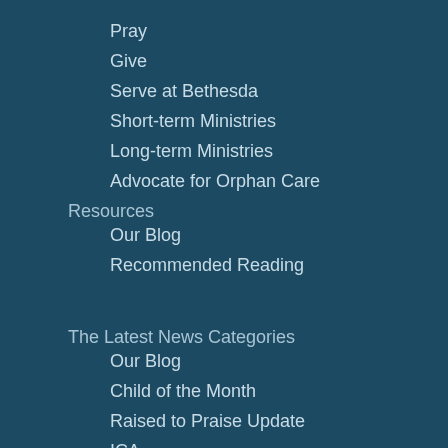Pray
Give
Serve at Bethesda
Short-term Ministries
Long-term Ministries
Advocate for Orphan Care
Resources
Our Blog
Recommended Reading
The Latest News Categories
Our Blog
Child of the Month
Raised to Praise Update
ICA